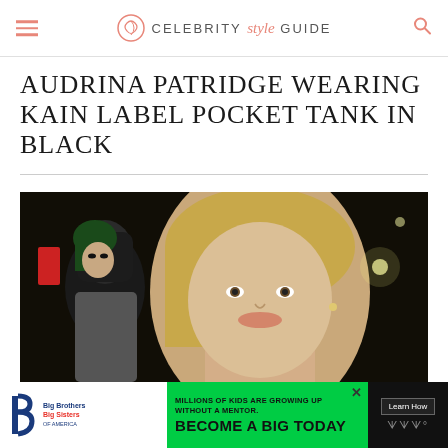Celebrity Style Guide
AUDRINA PATRIDGE WEARING KAIN LABEL POCKET TANK IN BLACK
[Figure (photo): Photo of Audrina Patridge, a blonde woman, photographed at night, with another woman with green hair visible in the background]
[Figure (infographic): Advertisement banner: Big Brothers Big Sisters. MILLIONS OF KIDS ARE GROWING UP WITHOUT A MENTOR. BECOME A BIG TODAY. Learn How.]